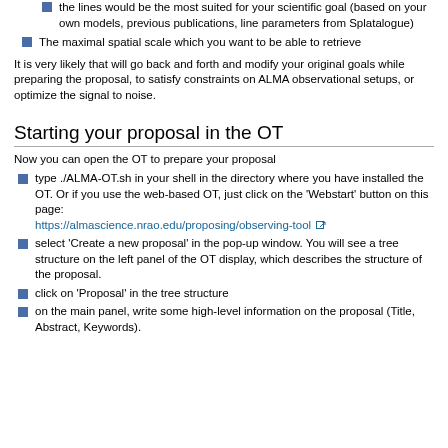the lines would be the most suited for your scientific goal (based on your own models, previous publications, line parameters from Splatalogue)
The maximal spatial scale which you want to be able to retrieve
It is very likely that will go back and forth and modify your original goals while preparing the proposal, to satisfy constraints on ALMA observational setups, or optimize the signal to noise.
Starting your proposal in the OT
Now you can open the OT to prepare your proposal
type ./ALMA-OT.sh in your shell in the directory where you have installed the OT. Or if you use the web-based OT, just click on the 'Webstart' button on this page: https://almascience.nrao.edu/proposing/observing-tool
select 'Create a new proposal' in the pop-up window. You will see a tree structure on the left panel of the OT display, which describes the structure of the proposal.
click on 'Proposal' in the tree structure
on the main panel, write some high-level information on the proposal (Title, Abstract, Keywords).